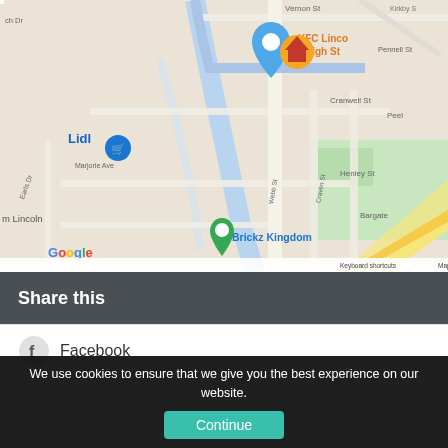[Figure (map): Google Maps screenshot showing Lincoln city area with KFC Lincoln High St marker, Lidl, Brickz Kingdom, South Park, Lincoln Police labels, Google branding, zoom controls, and a home pin marker. Shows streets including Vernon St, Cranwell St, Henley St, Bargate, Marjorie Ave, Earls Dr, Webb St, Craven St, Pennell St, Scorer St. Map data ©2022, Keyboard shortcuts, Terms of Use visible at bottom.]
Share this
Facebook
We use cookies to ensure that we give you the best experience on our website.
Continue